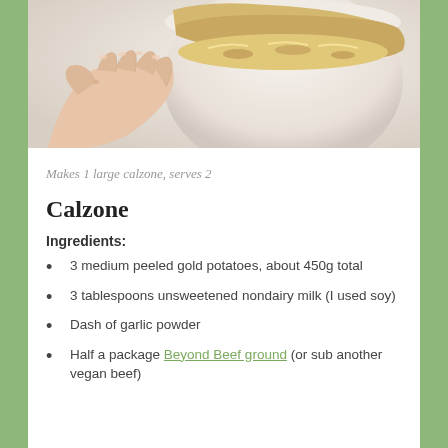[Figure (photo): A hand holding up a calzone over a white bowl, showing the interior filling with cheese and vegetables, photographed against a light background.]
Makes 1 large calzone, serves 2
Calzone
Ingredients:
3 medium peeled gold potatoes, about 450g total
3 tablespoons unsweetened nondairy milk (I used soy)
Dash of garlic powder
Half a package Beyond Beef ground (or sub another vegan beef)